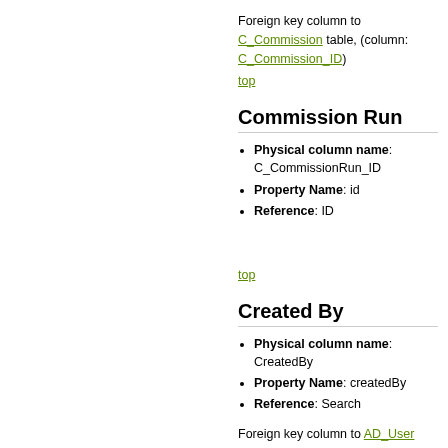Foreign key column to C_Commission table, (column: C_Commission_ID)
top
Commission Run
Physical column name: C_CommissionRun_ID
Property Name: id
Reference: ID
top
Created By
Physical column name: CreatedBy
Property Name: createdBy
Reference: Search
Foreign key column to AD_User table,